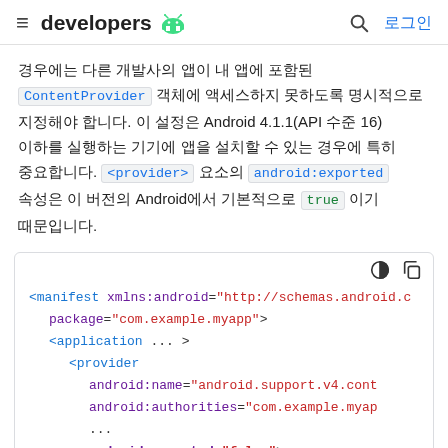≡ developers 🤖 🔍 로그인
경우에는 다른 개발사의 앱이 내 앱에 포함된 ContentProvider 객체에 액세스하지 못하도록 명시적으로 지정해야 합니다. 이 설정은 Android 4.1.1(API 수준 16) 이하를 실행하는 기기에 앱을 설치할 수 있는 경우에 특히 중요합니다. <provider> 요소의 android:exported 속성은 이 버전의 Android에서 기본적으로 true 이기 때문입니다.
[Figure (screenshot): XML code block showing Android manifest with ContentProvider configuration including android:exported="false"]